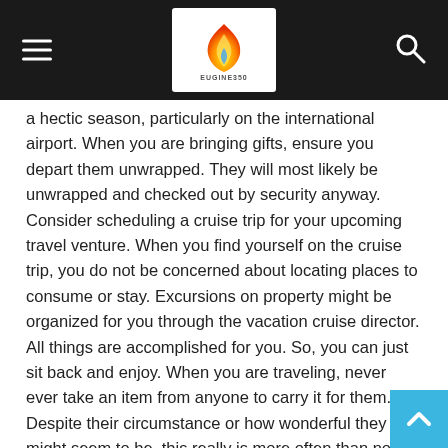[Figure (logo): Website header bar with hamburger menu on left, EUGINE350 logo in center, and search icon on right, all on dark background]
a hectic season, particularly on the international airport. When you are bringing gifts, ensure you depart them unwrapped. They will most likely be unwrapped and checked out by security anyway. Consider scheduling a cruise trip for your upcoming travel venture. When you find yourself on the cruise trip, you do not be concerned about locating places to consume or stay. Excursions on property might be organized for you through the vacation cruise director. All things are accomplished for you. So, you can just sit back and enjoy. When you are traveling, never ever take an item from anyone to carry it for them. Despite their circumstance or how wonderful they might seem to be, this really is more often than not a snare to influence an unwary tourist to move prescription drugs or other contraband into secure regions. Even “gift items” can belong to this category. If you will be from community for a few days or higher, look at getting someone you know travel from your house occasionally to make sure that every little thing appearance alright.